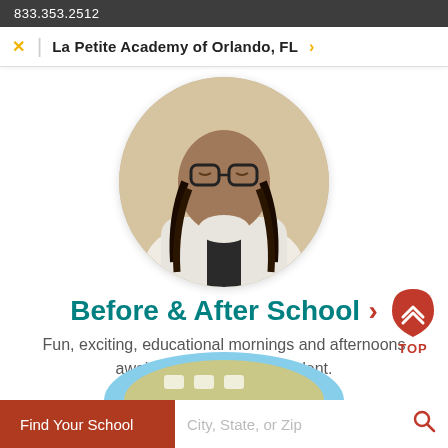833.353.2512
La Petite Academy of Orlando, FL
[Figure (photo): Circular cropped photo of a smiling child with braids wearing glasses and a white hoodie, looking down with hands clasped near face.]
Before & After School
Fun, exciting, educational mornings and afternoons await your school-age student.
[Figure (illustration): Partial circular illustration at the bottom of the page showing a school bus or globe in light blue and yellow tones.]
[Figure (other): Red drop/shield shaped icon with upward chevron arrows and label TOP — a scroll-to-top button.]
Find Your School
City, State, or Zip